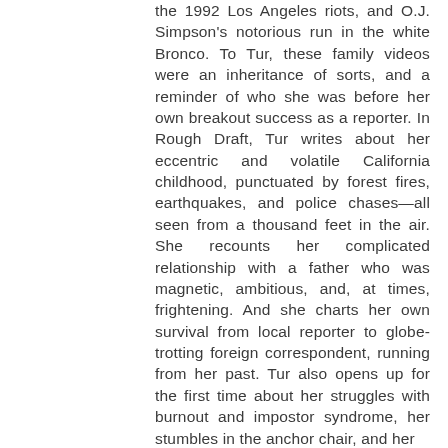the 1992 Los Angeles riots, and O.J. Simpson's notorious run in the white Bronco. To Tur, these family videos were an inheritance of sorts, and a reminder of who she was before her own breakout success as a reporter. In Rough Draft, Tur writes about her eccentric and volatile California childhood, punctuated by forest fires, earthquakes, and police chases—all seen from a thousand feet in the air. She recounts her complicated relationship with a father who was magnetic, ambitious, and, at times, frightening. And she charts her own survival from local reporter to globe-trotting foreign correspondent, running from her past. Tur also opens up for the first time about her struggles with burnout and impostor syndrome, her stumbles in the anchor chair, and her